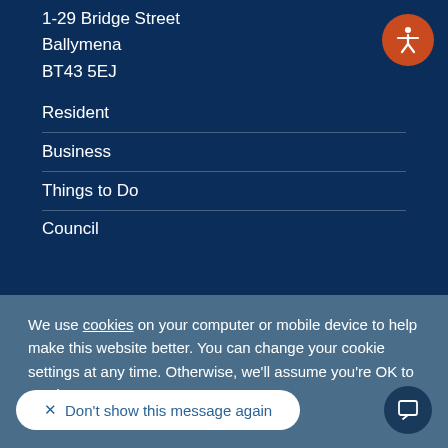1-29 Bridge Street
Ballymena
BT43 5EJ
Resident
Business
Things to Do
Council
We use cookies on your computer or mobile device to help make this website better. You can change your cookie settings at any time. Otherwise, we'll assume you're OK to continue.
× Don't show this message again